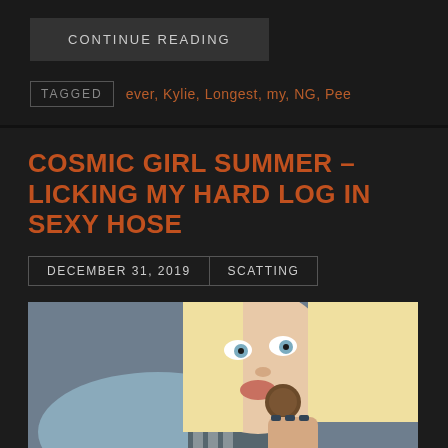CONTINUE READING
TAGGED  ever, Kylie, Longest, my, NG, Pee
COSMIC GIRL SUMMER – LICKING MY HARD LOG IN SEXY HOSE
DECEMBER 31, 2019  SCATTING
[Figure (photo): Blonde woman in blue and black striped top holding object near mouth]